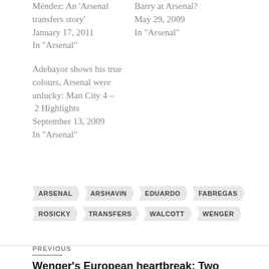Méndez: An 'Arsenal transfers story'
January 17, 2011
In "Arsenal"
Barry at Arsenal?
May 29, 2009
In "Arsenal"
Adebayor shows his true colours, Arsenal were unlucky: Man City 4 – 2 Highlights
September 13, 2009
In "Arsenal"
ARSENAL
ARSHAVIN
EDUARDO
FABREGAS
ROSICKY
TRANSFERS
WALCOTT
WENGER
PREVIOUS
Wenger's European heartbreak: Two European